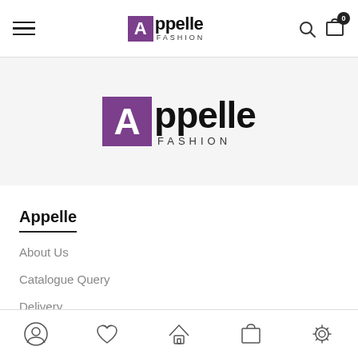[Figure (logo): Appelle Fashion logo in top navigation bar — purple square with white A, followed by ppelle in bold black, FASHION in small caps below]
[Figure (logo): Large Appelle Fashion logo in hero banner — purple square with white A, ppelle in large bold black, FASHION in spaced caps below]
Appelle
About Us
Catalogue Query
Delivery
Custom Order
Covid-19